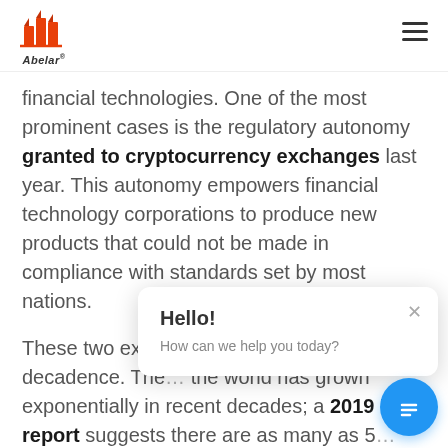Abelar
financial technologies. One of the most prominent cases is the regulatory autonomy granted to cryptocurrency exchanges last year. This autonomy empowers financial technology corporations to produce new products that could not be made in compliance with standards set by most nations.
These two exam[ples illustrate a] trend that coul[d lead to] decadence. The[...] the world has grown exponentially in recent decades; a 2019 UN report suggests there are as many as 5[...] While most of these projects are tiny processing[...] meant to attract foreign direct investment and